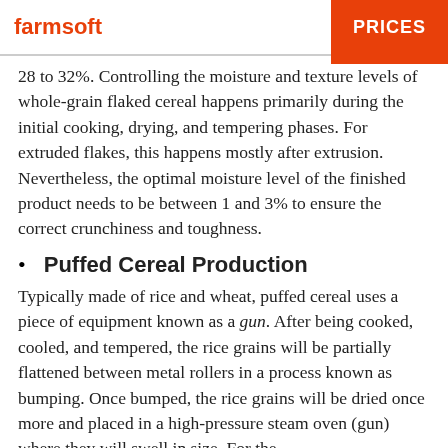farmsoft | PRICES
28 to 32%. Controlling the moisture and texture levels of whole-grain flaked cereal happens primarily during the initial cooking, drying, and tempering phases. For extruded flakes, this happens mostly after extrusion. Nevertheless, the optimal moisture level of the finished product needs to be between 1 and 3% to ensure the correct crunchiness and toughness.
Puffed Cereal Production
Typically made of rice and wheat, puffed cereal uses a piece of equipment known as a gun. After being cooked, cooled, and tempered, the rice grains will be partially flattened between metal rollers in a process known as bumping. Once bumped, the rice grains will be dried once more and placed in a high-pressure steam oven (gun) where they will swell in size. For the